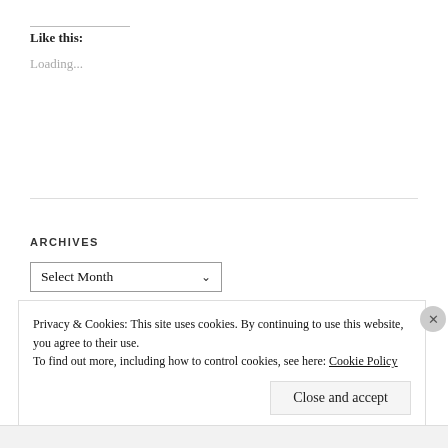Like this:
Loading...
ARCHIVES
Select Month
Privacy & Cookies: This site uses cookies. By continuing to use this website, you agree to their use.
To find out more, including how to control cookies, see here: Cookie Policy
Close and accept